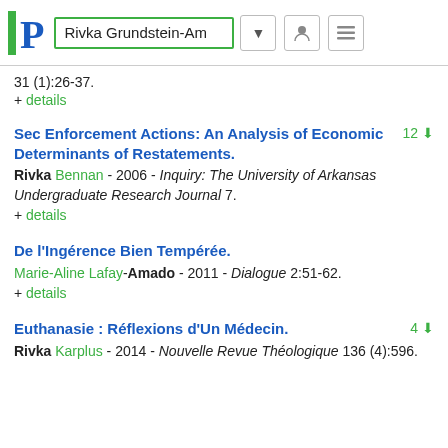Rivka Grundstein-Am
31 (1):26-37.
+ details
Sec Enforcement Actions: An Analysis of Economic Determinants of Restatements.
Rivka Bennan - 2006 - Inquiry: The University of Arkansas Undergraduate Research Journal 7.
+ details
De l'Ingérence Bien Tempérée.
Marie-Aline Lafay-Amado - 2011 - Dialogue 2:51-62.
+ details
Euthanasie : Réflexions d'Un Médecin.
Rivka Karplus - 2014 - Nouvelle Revue Théologique 136 (4):596.